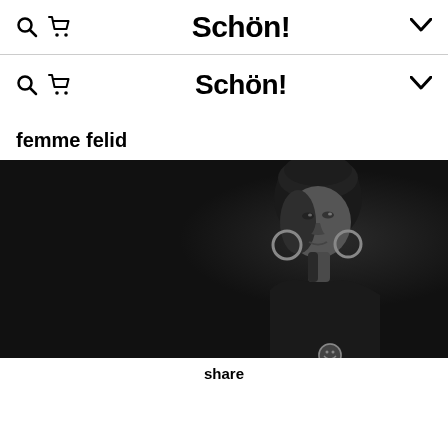Schön!
Schön!
femme felid
[Figure (photo): Black and white portrait photo of a woman with hoop earrings against a dark background, looking toward the camera]
share